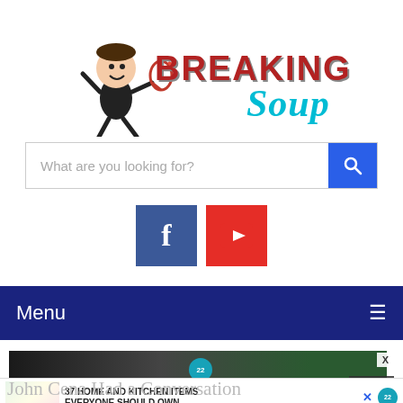[Figure (logo): Breaking Soup logo with cartoon character running and text 'BREAKING Soup' in stylized fonts]
[Figure (screenshot): Search bar with placeholder text 'What are you looking for?' and blue search button with magnifying glass icon]
[Figure (screenshot): Facebook and YouTube social media icon buttons]
[Figure (screenshot): Dark navy Menu bar with hamburger menu icon]
[Figure (screenshot): Advertisement banner: '37 ITEMS PEOPLE LOVE TO PURCHASE ON AMAZON' with close button and circular badge]
[Figure (screenshot): Bottom ad strip: '37 HOME AND KITCHEN ITEMS EVERYONE SHOULD OWN' with colorful bag images]
John Cena Had a Conversation